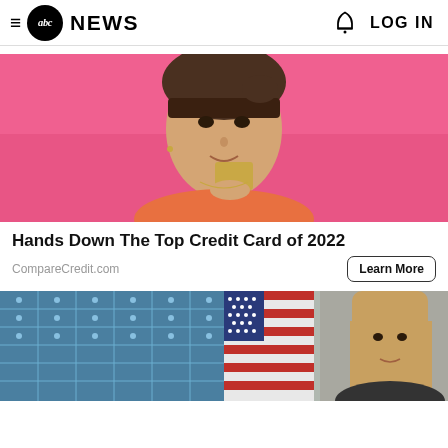≡ abc NEWS  🔔 LOG IN
[Figure (photo): Young woman with dark hair in a bun, looking at camera, holding a gold/tan credit card near her face against a pink background]
Hands Down The Top Credit Card of 2022
CompareCredit.com
Learn More
[Figure (photo): Left half: solar panel blue grid; Right half: woman with long blonde hair in front of an American flag]